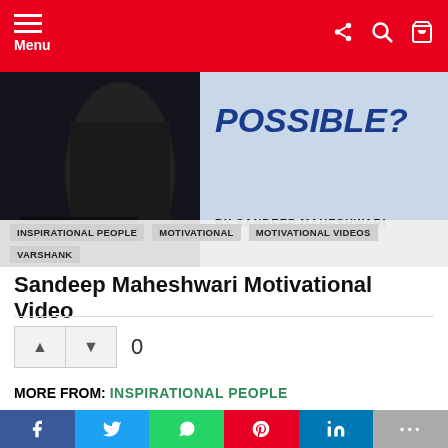Menu
[Figure (screenshot): Hero image showing a person speaking at a podium with text overlay 'POSSIBLE?' and 'BY SANDEEP MAHESHWARI', with vote count '0 Votes' overlay and category tags INSPIRATIONAL PEOPLE, MOTIVATIONAL, MOTIVATIONAL VIDEOS, VARSHANK]
Sandeep Maheshwari Motivational Video
0
MORE FROM: INSPIRATIONAL PEOPLE
[Figure (photo): Dark preview image showing a person, part of a related content section]
f  t  (whatsapp)  p  in  ...